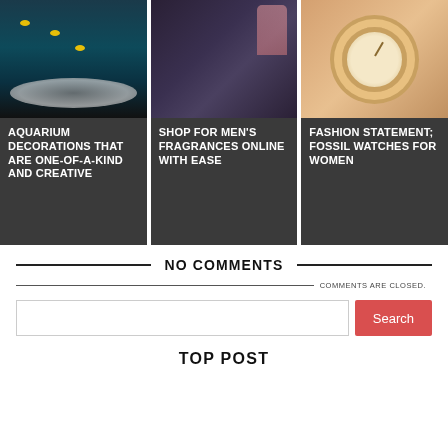[Figure (photo): Aquarium with fish, plants, and rocks on dark background]
AQUARIUM DECORATIONS THAT ARE ONE-OF-A-KIND AND CREATIVE
[Figure (photo): Man spraying cologne/fragrance from behind in dark setting]
SHOP FOR MEN'S FRAGRANCES ONLINE WITH EASE
[Figure (photo): Close-up of a Fossil rose gold watch for women]
FASHION STATEMENT; FOSSIL WATCHES FOR WOMEN
NO COMMENTS
COMMENTS ARE CLOSED.
Search
TOP POST